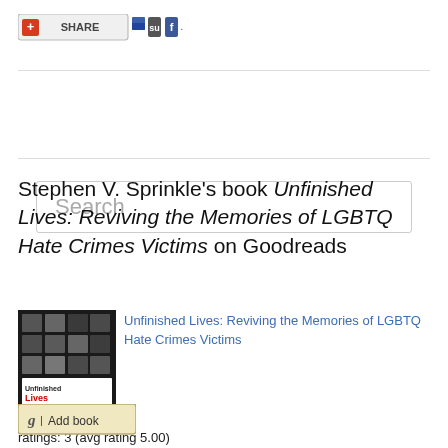[Figure (screenshot): Share bar with social media icons including a red plus/share button, del.icio.us, StumbleUpon, and Facebook icons]
[Figure (screenshot): Search input box with placeholder text 'Search']
Stephen V. Sprinkle's book Unfinished Lives: Reviving the Memories of LGBTQ Hate Crimes Victims on Goodreads
[Figure (photo): Book cover of Unfinished Lives: Reviving the Memories of LGBTQ Hate Crimes Victims showing a collage of portrait photos and the book title]
Unfinished Lives: Reviving the Memories of LGBTQ Hate Crimes Victims
ratings: 3 (avg rating 5.00)
[Figure (screenshot): Goodreads 'Add book' button with a 'g' logo icon]